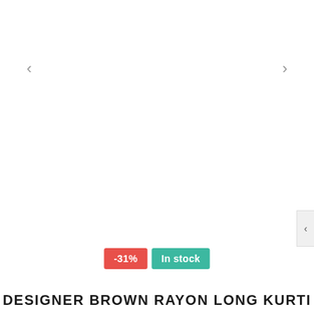[Figure (other): Product image carousel area — blank white image display area with left and right navigation arrows]
-31%
In stock
DESIGNER BROWN RAYON LONG KURTI